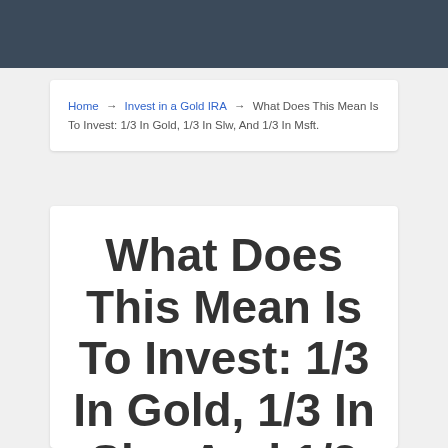Home → Invest in a Gold IRA → What Does This Mean Is To Invest: 1/3 In Gold, 1/3 In Slw, And 1/3 In Msft.
What Does This Mean Is To Invest: 1/3 In Gold, 1/3 In Slw, And 1/3 In Msft.